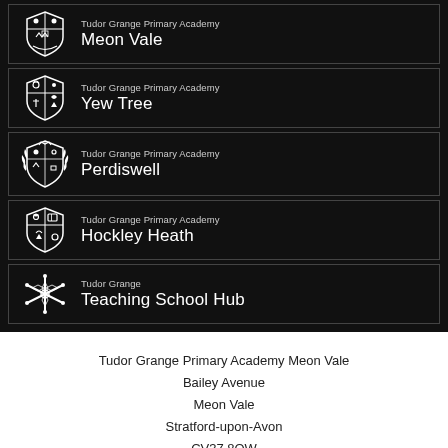Tudor Grange Primary Academy Meon Vale
Tudor Grange Primary Academy Yew Tree
Tudor Grange Primary Academy Perdiswell
Tudor Grange Primary Academy Hockley Heath
Tudor Grange Teaching School Hub
Tudor Grange Primary Academy Meon Vale
Bailey Avenue
Meon Vale
Stratford-upon-Avon
CV37 8QW